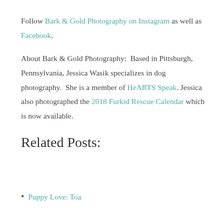Follow Bark & Gold Photography on Instagram as well as Facebook.
About Bark & Gold Photography:  Based in Pittsburgh, Pennsylvania, Jessica Wasik specializes in dog photography.  She is a member of HeARTS Speak. Jessica also photographed the 2018 Furkid Rescue Calendar which is now available.
Related Posts:
Puppy Love: Toa